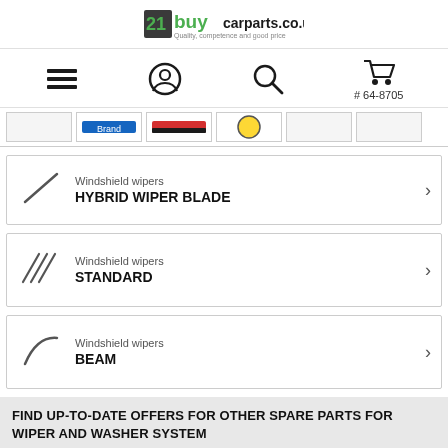[Figure (logo): 21buycarparts.co.uk logo with green and black text]
[Figure (illustration): Navigation bar with hamburger menu, user account icon, search icon, and shopping cart with #64-8705 label]
[Figure (illustration): Brand logos strip showing partial car part brand logos]
Windshield wipers HYBRID WIPER BLADE
Windshield wipers STANDARD
Windshield wipers BEAM
FIND UP-TO-DATE OFFERS FOR OTHER SPARE PARTS FOR WIPER AND WASHER SYSTEM